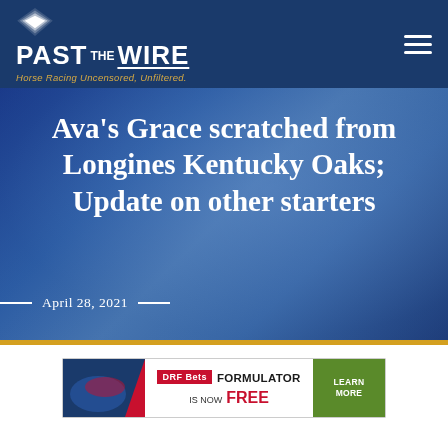Past The Wire — Horse Racing Uncensored, Unfiltered.
Ava's Grace scratched from Longines Kentucky Oaks; Update on other starters
April 28, 2021
[Figure (infographic): DRF Bets advertisement banner: FORMULATOR IS NOW FREE — LEARN MORE]
Social sharing buttons row with counter badge showing 0